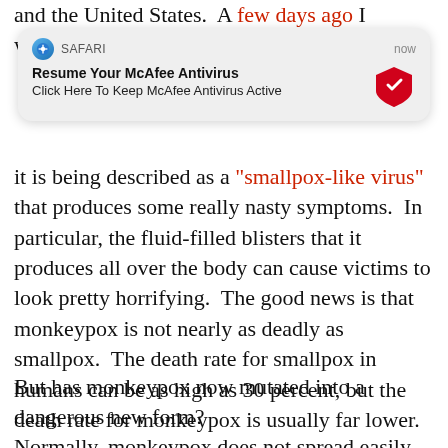and the United States.  A few days ago I warned that
[Figure (screenshot): Safari browser notification popup reading 'Resume Your McAfee Antivirus / Click Here To Keep McAfee Antivirus Active' with McAfee logo on the right, timestamped 'now']
it is being described as a "smallpox-like virus" that produces some really nasty symptoms.  In particular, the fluid-filled blisters that it produces all over the body can cause victims to look pretty horrifying.  The good news is that monkeypox is not nearly as deadly as smallpox.  The death rate for smallpox in humans can be as high as 30 percent, but the death rate for monkeypox is usually far lower.
But has monkeypox now mutated into a dangerous new form?
Normally, monkeypox does not spread easily from